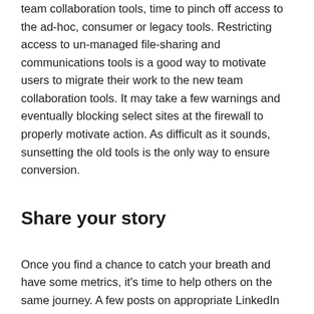team collaboration tools, time to pinch off access to the ad-hoc, consumer or legacy tools. Restricting access to un-managed file-sharing and communications tools is a good way to motivate users to migrate their work to the new team collaboration tools. It may take a few warnings and eventually blocking select sites at the firewall to properly motivate action. As difficult as it sounds, sunsetting the old tools is the only way to ensure conversion.
Share your story
Once you find a chance to catch your breath and have some metrics, it's time to help others on the same journey. A few posts on appropriate LinkedIn groups, sharing your own challenges and how you overcame them is a great way to help others and gain insight on future challenges. You've